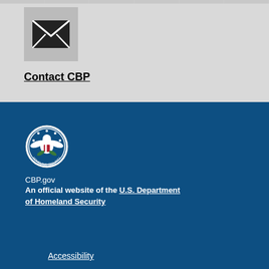[Figure (logo): Email envelope icon in a gray square button]
Contact CBP
[Figure (logo): DHS (Department of Homeland Security) circular seal/logo in white on dark blue background]
CBP.gov
An official website of the U.S. Department of Homeland Security
Accessibility
Accountability
DHS Components